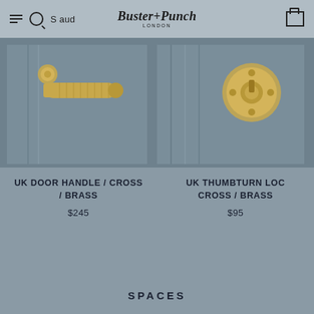S aud | Buster+Punch London
[Figure (photo): UK Door Handle / Cross / Brass product photo on grey background]
[Figure (photo): UK Thumbturn Lock / Cross / Brass product photo on grey background]
UK DOOR HANDLE / CROSS / BRASS
$245
UK THUMBTURN LOCK / CROSS / BRASS
$95
SPACES